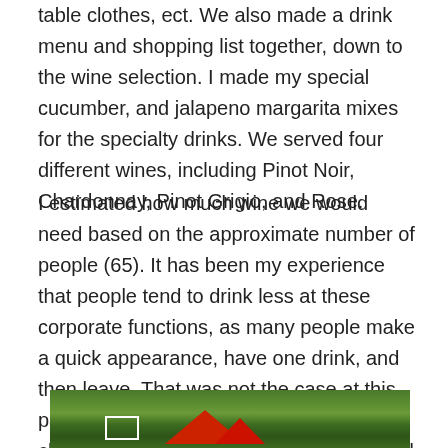table clothes, ect. We also made a drink menu and shopping list together, down to the wine selection. I made my special cucumber, and jalapeno margarita mixes for the specialty drinks. We served four different wines, including Pinot Noir, Chardonnay, Pinot Grigio, and Rose.
I estimated how much wine we would need based on the approximate number of people (65). It has been my experience that people tend to drink less at these corporate functions, as many people make a quick appearance, have one drink, and then leave. That was not the case at this party, as most of the guests were foreign clients, and they tended to stay longer and drink more. It was a good thing that the host at the last minute, had me by more wine. We ended up going through most of it.
[Figure (photo): Outdoor photo showing green hedges/bushes in background with red tent/canopy structure visible, and a white rectangular frame/sign in the lower left area.]